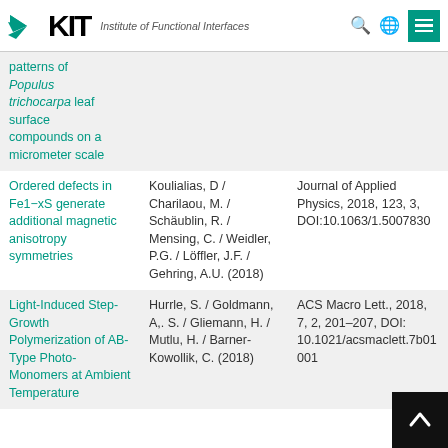KIT — Institute of Functional Interfaces
| Title | Authors | Journal |
| --- | --- | --- |
| patterns of Populus trichocarpa leaf surface compounds on a micrometer scale |  |  |
| Ordered defects in Fe1−xS generate additional magnetic anisotropy symmetries | Koulialias, D / Charilaou, M. / Schäublin, R. / Mensing, C. / Weidler, P.G. / Löffler, J.F. / Gehring, A.U. (2018) | Journal of Applied Physics, 2018, 123, 3, DOI:10.1063/1.5007830 |
| Light-Induced Step-Growth Polymerization of AB-Type Photo-Monomers at Ambient Temperature | Hurrle, S. / Goldmann, A,. S. / Gliemann, H. / Mutlu, H. / Barner-Kowollik, C. (2018) | ACS Macro Lett., 2018, 7, 2, 201–207, DOI: 10.1021/acsmaclett.7b01001 |